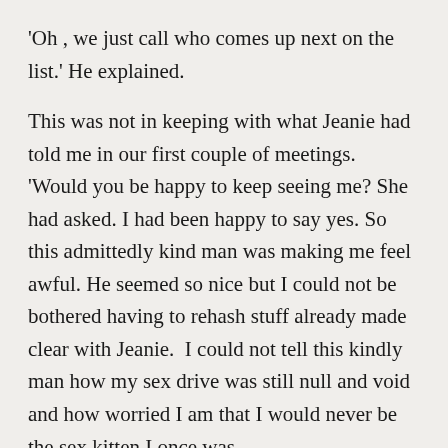'Oh , we just call who comes up next on the list.' He explained.
This was not in keeping with what Jeanie had told me in our first couple of meetings. 'Would you be happy to keep seeing me? She had asked. I had been happy to say yes. So this admittedly kind man was making me feel  awful. He seemed so nice but I could not be bothered having to rehash stuff already made clear with Jeanie.  I could not tell this kindly man how my sex drive was still null and void and how worried I am that I would never be the sex kitten I once was.